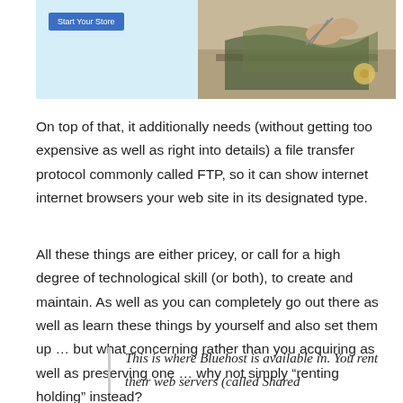[Figure (photo): Website banner showing a 'Start Your Store' blue button on the left and a person sewing/crafting on the right, light blue background]
On top of that, it additionally needs (without getting too expensive as well as right into details) a file transfer protocol commonly called FTP, so it can show internet internet browsers your web site in its designated type.
All these things are either pricey, or call for a high degree of technological skill (or both), to create and maintain. As well as you can completely go out there as well as learn these things by yourself and also set them up … but what concerning rather than you acquiring as well as preserving one … why not simply “renting holding” instead?
This is where Bluehost is available in. You rent their web servers (called Shared